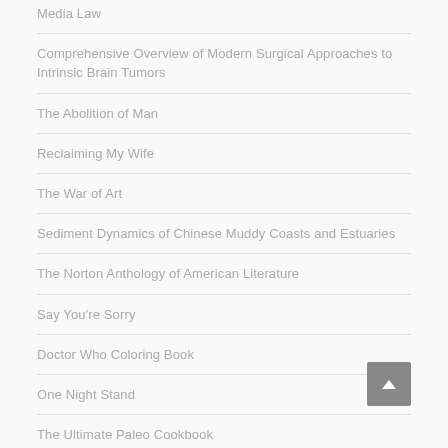Media Law
Comprehensive Overview of Modern Surgical Approaches to Intrinsic Brain Tumors
The Abolition of Man
Reclaiming My Wife
The War of Art
Sediment Dynamics of Chinese Muddy Coasts and Estuaries
The Norton Anthology of American Literature
Say You're Sorry
Doctor Who Coloring Book
One Night Stand
The Ultimate Paleo Cookbook